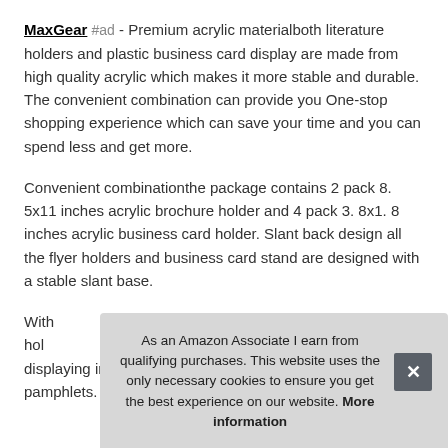MaxGear #ad - Premium acrylic materialboth literature holders and plastic business card display are made from high quality acrylic which makes it more stable and durable. The convenient combination can provide you One-stop shopping experience which can save your time and you can spend less and get more.
Convenient combinationthe package contains 2 pack 8. 5x11 inches acrylic brochure holder and 4 pack 3. 8x1. 8 inches acrylic business card holder. Slant back design all the flyer holders and business card stand are designed with a stable slant base.
With... hol... displaying images, brochures, business card and pamphlets.
As an Amazon Associate I earn from qualifying purchases. This website uses the only necessary cookies to ensure you get the best experience on our website. More information